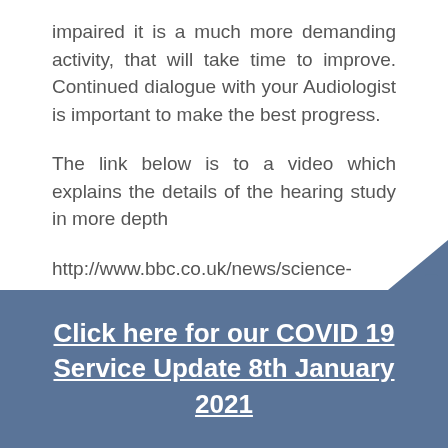impaired it is a much more demanding activity, that will take time to improve. Continued dialogue with your Audiologist is important to make the best progress.
The link below is to a video which explains the details of the hearing study in more depth
http://www.bbc.co.uk/news/science-
Click here for our COVID 19 Service Update 8th January 2021